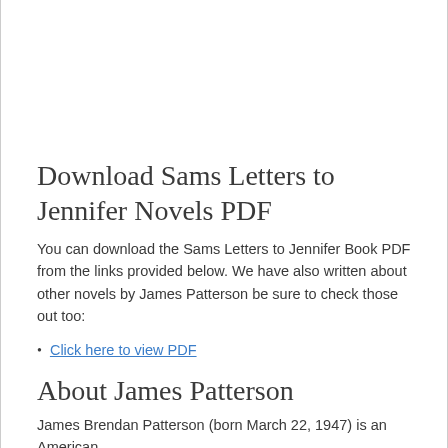Download Sams Letters to Jennifer Novels PDF
You can download the Sams Letters to Jennifer Book PDF from the links provided below. We have also written about other novels by James Patterson be sure to check those out too:
Click here to view PDF
About James Patterson
James Brendan Patterson (born March 22, 1947) is an American